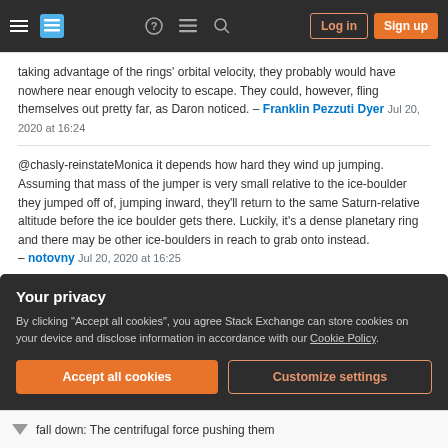Stack Exchange navigation bar with hamburger menu, logo, help, chat, search icons, and Log in / Sign up buttons
taking advantage of the rings' orbital velocity, they probably would have nowhere near enough velocity to escape. They could, however, fling themselves out pretty far, as Daron noticed. – Franklin Pezzuti Dyer Jul 20, 2020 at 16:24
@chasly-reinstateMonica it depends how hard they wind up jumping. Assuming that mass of the jumper is very small relative to the ice-boulder they jumped off of, jumping inward, they'll return to the same Saturn-relative altitude before the ice boulder gets there. Luckily, it's a dense planetary ring and there may be other ice-boulders in reach to grab onto instead. – notovny Jul 20, 2020 at 16:25
Your privacy
By clicking "Accept all cookies", you agree Stack Exchange can store cookies on your device and disclose information in accordance with our Cookie Policy.
Accept all cookies   Customize settings
fall down: The centrifugal force pushing them